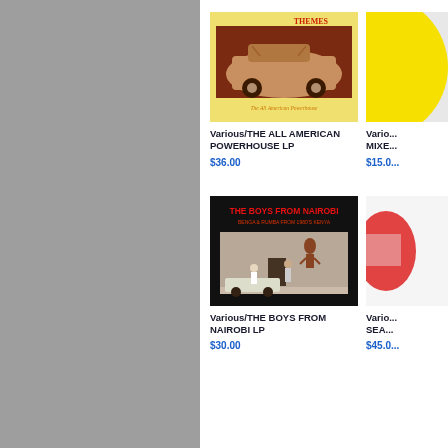[Figure (photo): Album cover for THE ALL AMERICAN POWERHOUSE LP - vintage yellow background with brown frame containing a classic American car illustration, with text 'THEMES' at top and 'The All American Powerhouse' below]
Various/THE ALL AMERICAN POWERHOUSE LP
$36.00
[Figure (photo): Partial album cover showing bright yellow circle/disc on right edge]
Vario... MIXE...
$15.0...
[Figure (photo): Album cover for THE BOYS FROM NAIROBI LP - black background with red text 'THE BOYS FROM NAIROBI' and 'BENGA & RUMBA FROM 1980'S KENYA', showing a street mural with people dancing in front of a building]
Various/THE BOYS FROM NAIROBI LP
$30.00
[Figure (photo): Partial album cover on right edge showing white/light background with red graphic design elements]
Vario... SEA...
$45.0...